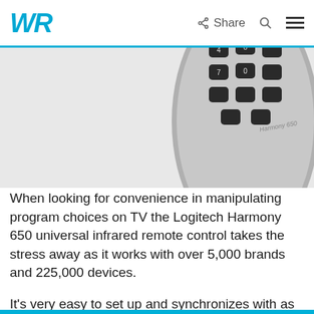WR  Share
[Figure (photo): Close-up photo of the bottom portion of a Logitech Harmony 650 universal infrared remote control, showing a silver/grey body with dark rounded number buttons (0-9) and control buttons, with 'Harmony 650' text visible on the device.]
When looking for convenience in manipulating program choices on TV the Logitech Harmony 650 universal infrared remote control takes the stress away as it works with over 5,000 brands and 225,000 devices.
It's very easy to set up and synchronizes with as much as eight devices at once.